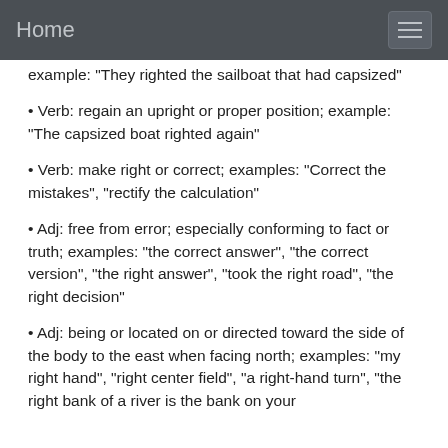Home
example: "They righted the sailboat that had capsized"
Verb: regain an upright or proper position; example: "The capsized boat righted again"
Verb: make right or correct; examples: "Correct the mistakes", "rectify the calculation"
Adj: free from error; especially conforming to fact or truth; examples: "the correct answer", "the correct version", "the right answer", "took the right road", "the right decision"
Adj: being or located on or directed toward the side of the body to the east when facing north; examples: "my right hand", "right center field", "a right-hand turn", "the right bank of a river is the bank on your